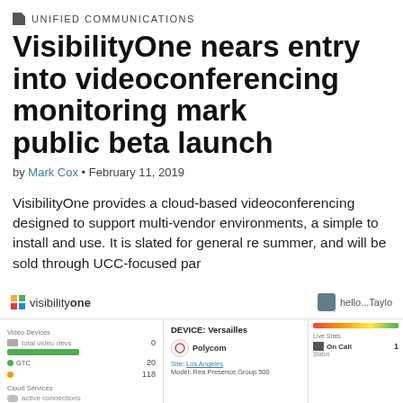UNIFIED COMMUNICATIONS
VisibilityOne nears entry into videoconferencing monitoring market with public beta launch
by Mark Cox • February 11, 2019
VisibilityOne provides a cloud-based videoconferencing monitoring solution designed to support multi-vendor environments, and one that is simple to install and use. It is slated for general release this summer, and will be sold through UCC-focused partners.
[Figure (screenshot): Screenshot of the VisibilityOne dashboard interface showing the visibilityone logo, a hello...Taylor greeting, a left panel with Video Devices and Cloud Services sections showing device counts and a green progress bar, a center panel showing DEVICE: Versailles with a Polycom logo, Site: Los Angeles, Model: PresenceGroup 500, and a right panel with a color gauge bar, Live Stats, On Call status indicator.]